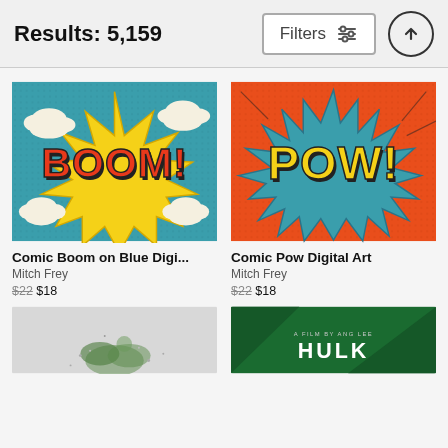Results: 5,159
Comic Boom on Blue Digi...
Mitch Frey
$22  $18
Comic Pow Digital Art
Mitch Frey
$22  $18